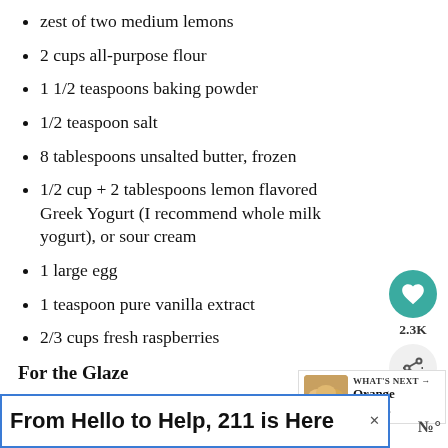zest of two medium lemons
2 cups all-purpose flour
1 1/2 teaspoons baking powder
1/2 teaspoon salt
8 tablespoons unsalted butter, frozen
1/2 cup + 2 tablespoons lemon flavored Greek Yogurt (I recommend whole milk yogurt), or sour cream
1 large egg
1 teaspoon pure vanilla extract
2/3 cups fresh raspberries
For the Glaze
3 tablespoons unsalted butter; melted
1 cup confectioners’ sugar; sifted
[Figure (other): Heart/like button with teal background and 2.3K count, plus share button]
[Figure (other): What's Next panel showing Orange Scones with small thumbnail]
From Hello to Help, 211 is Here